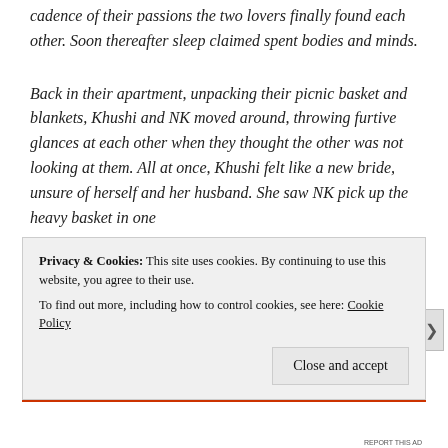cadence of their passions the two lovers finally found each other. Soon thereafter sleep claimed spent bodies and minds.
Back in their apartment, unpacking their picnic basket and blankets, Khushi and NK moved around, throwing furtive glances at each other when they thought the other was not looking at them. All at once, Khushi felt like a new bride, unsure of herself and her husband. She saw NK pick up the heavy basket in one
Privacy & Cookies: This site uses cookies. By continuing to use this website, you agree to their use.
To find out more, including how to control cookies, see here: Cookie Policy
Close and accept